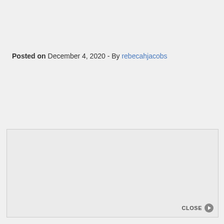Posted on December 4, 2020 - By rebecahjacobs
[Figure (other): A blank/empty image box with a CLOSE button in the bottom-right corner featuring a circular arrow icon]